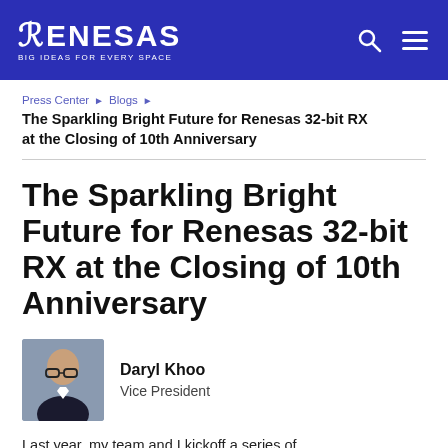RENESAS — BIG IDEAS FOR EVERY SPACE
Press Center › Blogs ›
The Sparkling Bright Future for Renesas 32-bit RX at the Closing of 10th Anniversary
The Sparkling Bright Future for Renesas 32-bit RX at the Closing of 10th Anniversary
[Figure (photo): Portrait photo of Daryl Khoo, a man wearing glasses and a dark suit]
Daryl Khoo
Vice President
Last year, my team and I kickoff a series of